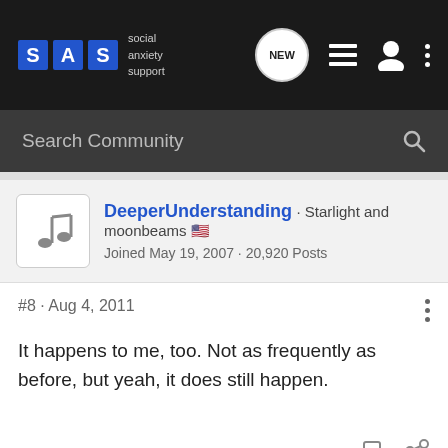SAS social anxiety support — navigation bar with NEW, list, user, and more icons
Search Community
DeeperUnderstanding · Starlight and moonbeams 🇺🇸
Joined May 19, 2007 · 20,920 Posts
#8 · Aug 4, 2011
It happens to me, too. Not as frequently as before, but yeah, it does still happen.
ohno · Registered